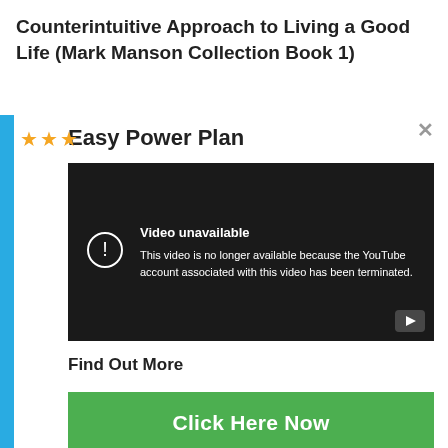Counterintuitive Approach to Living a Good Life (Mark Manson Collection Book 1)
★★★
[Figure (screenshot): A YouTube video embed showing 'Video unavailable' message: 'This video is no longer available because the YouTube account associated with this video has been terminated.' with a play button icon in the bottom right.]
Easy Power Plan
Find Out More
Click Here Now